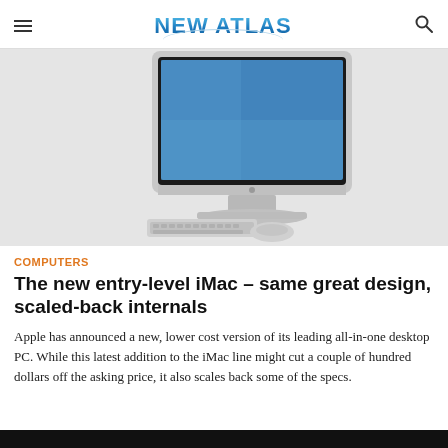NEW ATLAS
[Figure (photo): Apple iMac all-in-one desktop computer with keyboard and mouse on a light grey background]
COMPUTERS
The new entry-level iMac – same great design, scaled-back internals
Apple has announced a new, lower cost version of its leading all-in-one desktop PC. While this latest addition to the iMac line might cut a couple of hundred dollars off the asking price, it also scales back some of the specs.